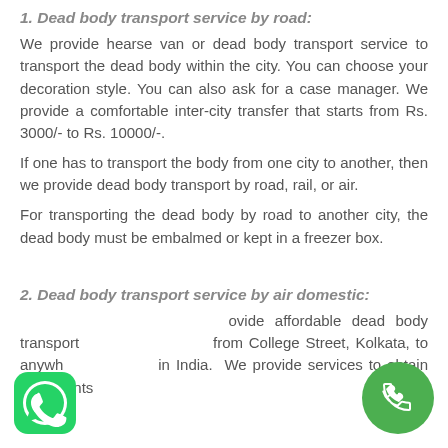1. Dead body transport service by road:
We provide hearse van or dead body transport service to transport the dead body within the city. You can choose your decoration style. You can also ask for a case manager. We provide a comfortable inter-city transfer that starts from Rs. 3000/- to Rs. 10000/-.
If one has to transport the body from one city to another, then we provide dead body transport by road, rail, or air.
For transporting the dead body by road to another city, the dead body must be embalmed or kept in a freezer box.
2. Dead body transport service by air domestic:
We provide affordable dead body transport from College Street, Kolkata, to anywhere in India. We provide services to obtain documents